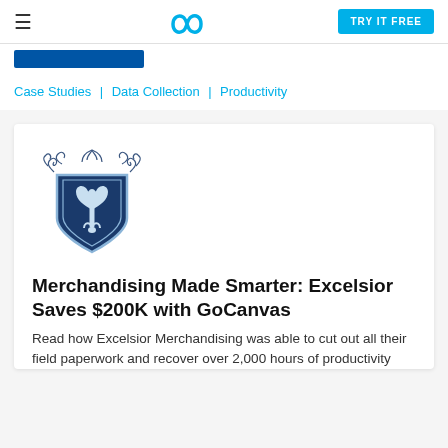GoCanvas — TRY IT FREE
Case Studies | Data Collection | Productivity
[Figure (logo): Excelsior Merchandising crest/shield logo: dark navy blue shield with a fleur-de-lis design, flanked by decorative scrollwork on top]
Merchandising Made Smarter: Excelsior Saves $200K with GoCanvas
Read how Excelsior Merchandising was able to cut out all their field paperwork and recover over 2,000 hours of productivity